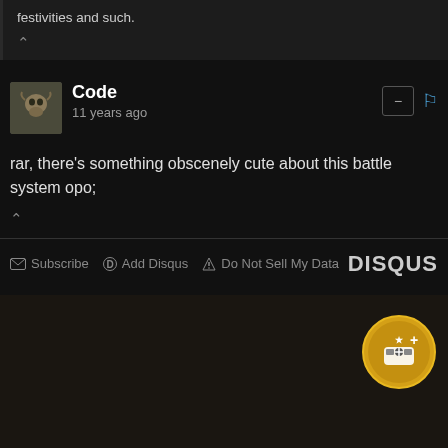festivities and such.
Code
11 years ago
rar, there's something obscenely cute about this battle system opo;
Subscribe  Add Disqus  Do Not Sell My Data  DISQUS
[Figure (illustration): Dark section with a circular golden badge/icon in the top right showing a game controller with a plus symbol]